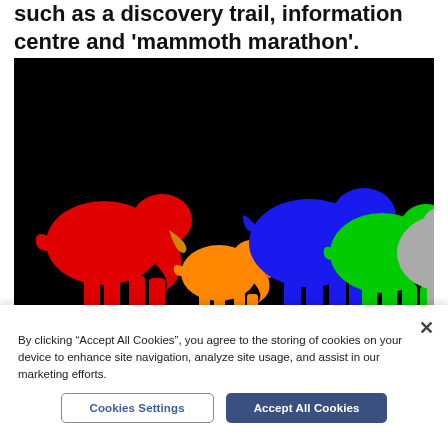such as a discovery trail, information centre and 'mammoth marathon'.
[Figure (illustration): Black background image showing colorful mammoth/elephant silhouettes walking in a line from left to right: red (large), orange (small), blue (large), green (large), and gray (partially visible, large).]
By clicking “Accept All Cookies”, you agree to the storing of cookies on your device to enhance site navigation, analyze site usage, and assist in our marketing efforts.
Cookies Settings
Accept All Cookies